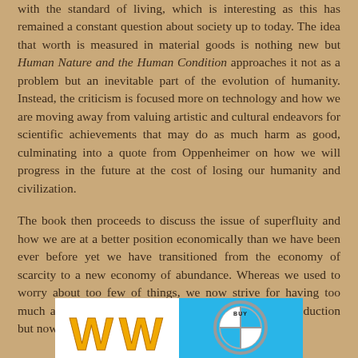with the standard of living, which is interesting as this has remained a constant question about society up to today. The idea that worth is measured in material goods is nothing new but Human Nature and the Human Condition approaches it not as a problem but an inevitable part of the evolution of humanity. Instead, the criticism is focused more on technology and how we are moving away from valuing artistic and cultural endeavors for scientific achievements that may do as much harm as good, culminating into a quote from Oppenheimer on how we will progress in the future at the cost of losing our humanity and civilization.
The book then proceeds to discuss the issue of superfluity and how we are at a better position economically than we have been ever before yet we have transitioned from the economy of scarcity to a new economy of abundance. Whereas we used to worry about too few of things, we now strive for having too much and our problem is no longer circled around production but now around consumption.
[Figure (illustration): Two logos side by side: on the left a white background with a gold W-shaped logo, on the right a blue background with a BMW-style circular logo with BUY text]